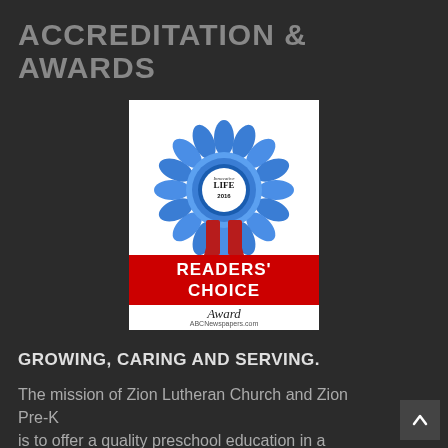ACCREDITATION & AWARDS
[Figure (illustration): Readers' Choice Award badge from ABCNewspapers.com for 2016, featuring a blue ribbon rosette with 'Innovative Life 2016' text and 'READERS' CHOICE Award' in red and black text below]
GROWING, CARING AND SERVING.
The mission of Zion Lutheran Church and Zion Pre-K is to offer a quality preschool education in a secure Christian environment.